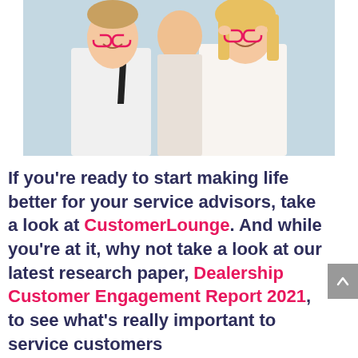[Figure (photo): Two smiling people (a man in a white shirt with black tie and a woman with blonde hair in white top) looking through novelty glasses frames, posing playfully against a light blue background.]
If you're ready to start making life better for your service advisors, take a look at CustomerLounge. And while you're at it, why not take a look at our latest research paper, Dealership Customer Engagement Report 2021, to see what's really important to service customers